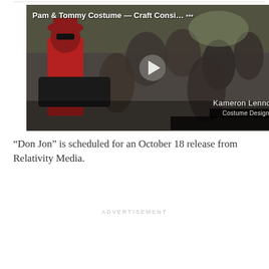[Figure (screenshot): Video thumbnail showing a scene with a person in a red coat and hat with sunglasses, crowd in background. Title reads 'Pam & Tommy Costume — Craft Consi...' with a play button overlay. Lower third shows 'Kameron Lennox' and 'Costume Designer'.]
“Don Jon” is scheduled for an October 18 release from Relativity Media.
ADVERTISEMENT